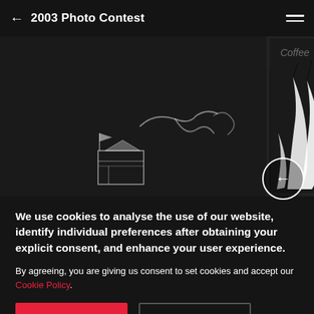← 2003 Photo Contest
[Figure (photo): Dark background photo showing graffiti on a wall with chalk/white drawings including a simple building sketch and cursive text on the left, and a high-contrast black and white image of what appears to be fire or water spray on the right.]
We use cookies to analyse the use of our website, identify individual preferences after obtaining your explicit consent, and enhance your user experience.
By agreeing, you are giving us consent to set cookies and accept our Cookie Policy.
I agree
Decline